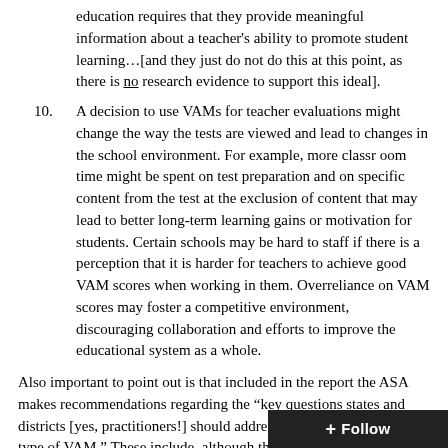education requires that they provide meaningful information about a teacher's ability to promote student learning…[and they just do not do this at this point, as there is no research evidence to support this ideal].
10. A decision to use VAMs for teacher evaluations might change the way the tests are viewed and lead to changes in the school environment. For example, more classroom time might be spent on test preparation and on specific content from the test at the exclusion of content that may lead to better long-term learning gains or motivation for students. Certain schools may be hard to staff if there is a perception that it is harder for teachers to achieve good VAM scores when working in them. Overreliance on VAM scores may foster a competitive environment, discouraging collaboration and efforts to improve the educational system as a whole.
Also important to point out is that included in the report the ASA makes recommendations regarding the "key questions states and districts [yes, practitioners!] should address regarding the use of any type of VAM." These include, although they are not lim